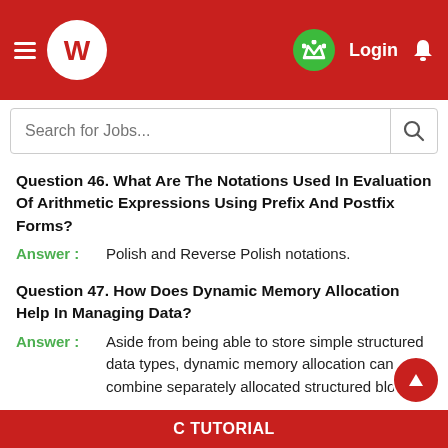C Tutorial – Job portal app header with logo, Login, and search bar
Question 46. What Are The Notations Used In Evaluation Of Arithmetic Expressions Using Prefix And Postfix Forms?
Answer : Polish and Reverse Polish notations.
Question 47. How Does Dynamic Memory Allocation Help In Managing Data?
Answer : Aside from being able to store simple structured data types, dynamic memory allocation can combine separately allocated structured blocks
C TUTORIAL